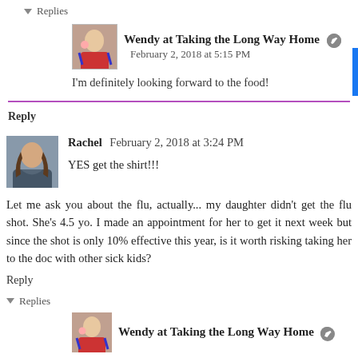▾ Replies
Wendy at Taking the Long Way Home
February 2, 2018 at 5:15 PM
I'm definitely looking forward to the food!
Reply
Rachel  February 2, 2018 at 3:24 PM
YES get the shirt!!!
Let me ask you about the flu, actually... my daughter didn't get the flu shot. She's 4.5 yo. I made an appointment for her to get it next week but since the shot is only 10% effective this year, is it worth risking taking her to the doc with other sick kids?
Reply
▾ Replies
Wendy at Taking the Long Way Home